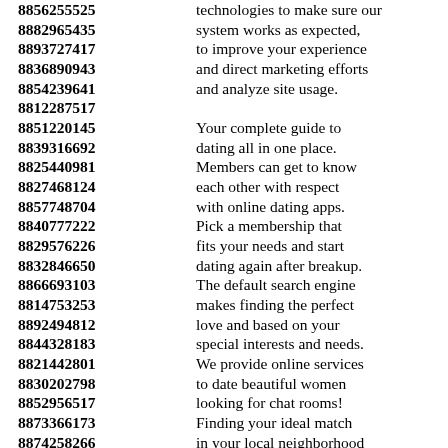8856255525 technologies to make sure our
8882965435 system works as expected,
8893727417 to improve your experience
8836890943 and direct marketing efforts
8854239641 and analyze site usage.
8812287517
8851220145 Your complete guide to
8839316692 dating all in one place.
8825440981 Members can get to know
8827468124 each other with respect
8857748704 with online dating apps.
8840777222 Pick a membership that
8829576226 fits your needs and start
8832846650 dating again after breakup.
8866693103 The default search engine
8814753253 makes finding the perfect
8892494812 love and based on your
8844328183 special interests and needs.
8821442801 We provide online services
8830202798 to date beautiful women
8852956517 looking for chat rooms!
8873366173 Finding your ideal match
8874258266 in your local neighborhood
8840682250 has never been easier with us.
8880412616 We have made the search for
8826844249 someone to make you smile